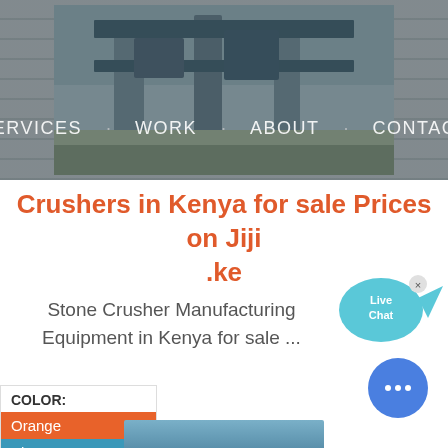[Figure (photo): Photograph of industrial stone crusher machinery and structure at a quarry or construction site, with navigation bar overlay reading SERVICES WORK ABOUT CONTACT]
Crushers in Kenya for sale Prices on Jiji .ke
[Figure (illustration): Live Chat speech bubble icon in teal/blue color with text 'Live Chat' and an X close button]
Stone Crusher Manufacturing Equipment in Kenya for sale ...
COLOR:
Orange
Blue
Yellow
[Figure (illustration): Blue circular chat button with three dots (ellipsis) icon at bottom right]
[Figure (photo): Partial photo strip at the bottom of the page showing stone crusher or quarry equipment]